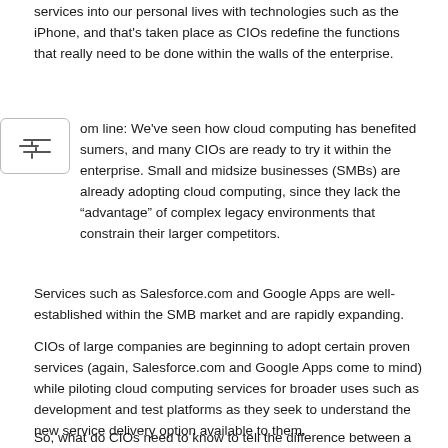services into our personal lives with technologies such as the iPhone, and that's taken place as CIOs redefine the functions that really need to be done within the walls of the enterprise.
Bottom line: We've seen how cloud computing has benefited consumers, and many CIOs are ready to try it within the enterprise. Small and midsize businesses (SMBs) are already adopting cloud computing, since they lack the “advantage” of complex legacy environments that constrain their larger competitors.
Services such as Salesforce.com and Google Apps are well-established within the SMB market and are rapidly expanding.
CIOs of large companies are beginning to adopt certain proven services (again, Salesforce.com and Google Apps come to mind) while piloting cloud computing services for broader uses such as development and test platforms as they seek to understand the new service delivery option available to them.
So, what do CIOs need to know to tell the difference between a real...